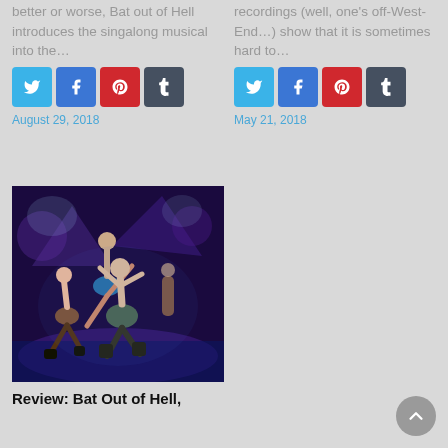better or worse, Bat out of Hell introduces the singalong musical into the…
recordings (well, one's off-West-End…) show that it is sometimes hard to…
August 29, 2018
May 21, 2018
[Figure (photo): Stage performance photo showing dancers from Bat Out of Hell musical, with energetic poses on a purple-lit stage with dramatic set pieces in background]
Review: Bat Out of Hell,